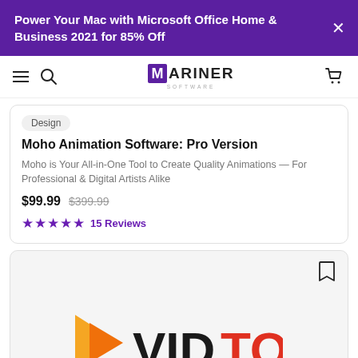Power Your Mac with Microsoft Office Home & Business 2021 for 85% Off
[Figure (logo): Mariner Software logo with hamburger menu, search, and cart icons in navigation bar]
Design
Moho Animation Software: Pro Version
Moho is Your All-in-One Tool to Create Quality Animations — For Professional & Digital Artists Alike
$99.99  $399.99
★★★★★ 15 Reviews
[Figure (logo): VidToon logo with orange/yellow play button triangle icon and VID in dark text TOON in red-orange text]